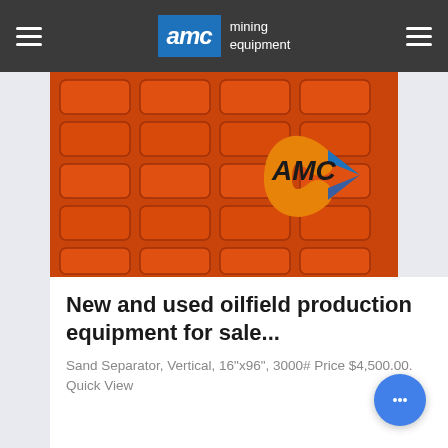AMC mining equipment
[Figure (photo): Photo of orange plastic grid/crate equipment stacked, with AMC logo visible on the right side]
New and used oilfield production equipment for sale...
Sand Separator, Vertical, 16"x96", 3000# Price $4,500.00. Quick View